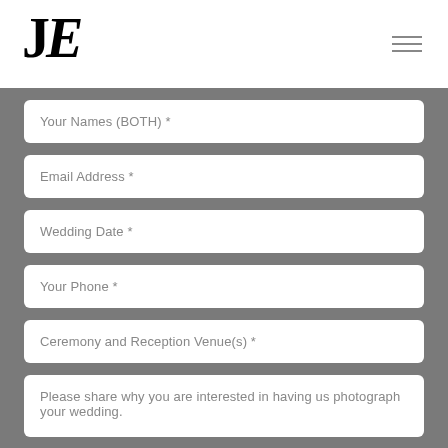JE
Your Names (BOTH) *
Email Address *
Wedding Date *
Your Phone *
Ceremony and Reception Venue(s) *
Please share why you are interested in having us photograph your wedding.